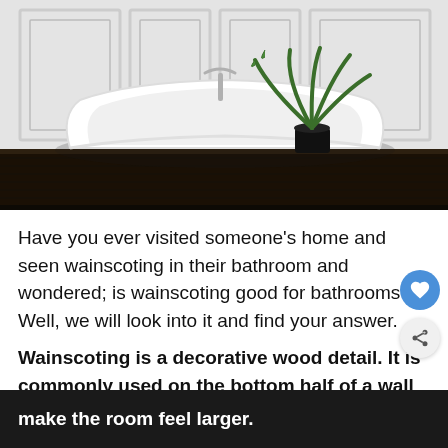[Figure (photo): A white freestanding bathtub on a dark wooden surface against white wainscoted wall panels, with a potted palm plant and a black vase.]
Have you ever visited someone's home and seen wainscoting in their bathroom and wondered; is wainscoting good for bathrooms? Well, we will look into it and find your answer.
Wainscoting is a decorative wood detail. It is commonly used on the bottom half of a wall and is a great way to add charm to any room; Even bathrooms! Wainscoting can be a nice addition to small powder rooms because it can make the room feel larger.